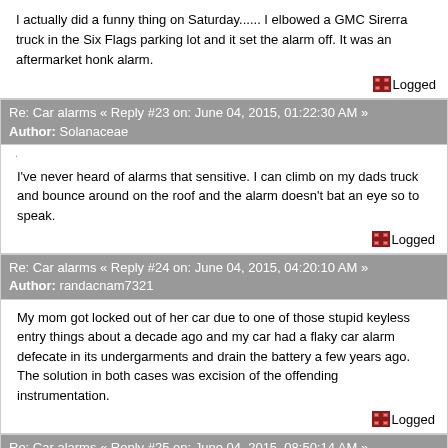I actually did a funny thing on Saturday...... I elbowed a GMC Sirerra truck in the Six Flags parking lot and it set the alarm off. It was an aftermarket honk alarm.
Logged
Re: Car alarms « Reply #23 on: June 04, 2015, 01:22:30 AM »
Author: Solanaceae
I've never heard of alarms that sensitive. I can climb on my dads truck and bounce around on the roof and the alarm doesn't bat an eye so to speak.
Logged
Re: Car alarms « Reply #24 on: June 04, 2015, 04:20:10 AM »
Author: randacnam7321
My mom got locked out of her car due to one of those stupid keyless entry things about a decade ago and my car had a flaky car alarm defecate in its undergarments and drain the battery a few years ago.  The solution in both cases was excision of the offending instrumentation.
Logged
Re: Car alarms « Reply #25 on: June 04, 2015, 08:50:14 AM »
Author: Coolcat97